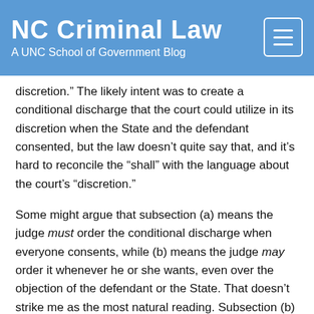NC Criminal Law
A UNC School of Government Blog
discretion.” The likely intent was to create a conditional discharge that the court could utilize in its discretion when the State and the defendant consented, but the law doesn’t quite say that, and it’s hard to reconcile the “shall” with the language about the court’s “discretion.”
Some might argue that subsection (a) means the judge must order the conditional discharge when everyone consents, while (b) means the judge may order it whenever he or she wants, even over the objection of the defendant or the State. That doesn’t strike me as the most natural reading. Subsection (b) refers to proceedings pursuant to this section (not subsection), and only (b) spells out the details of the probation imposed as part of the conditional discharge. That leads me to think that (a) and (b) were meant to be of a piece, describing a single pathway for conditional discharge. But this is the first sentence and the question about the